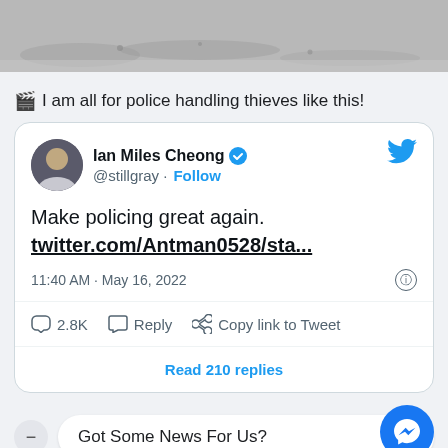[Figure (photo): Grayscale aerial/ground photo at top of page]
🎬 I am all for police handling thieves like this!
[Figure (screenshot): Screenshot of a Twitter/X tweet by Ian Miles Cheong (@stillgray). Tweet text: 'Make policing great again. twitter.com/Antman0528/sta...' Posted at 11:40 AM · May 16, 2022. 2.8K likes. Read 210 replies.]
Got Some News For Us?